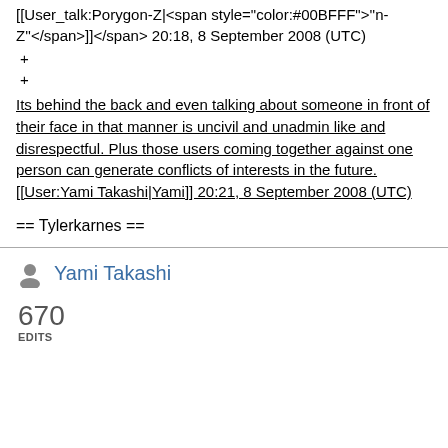[[User_talk:Porygon-Z|<span style='color:#00BFFF'>''n-Z''</span>]]</span> 20:18, 8 September 2008 (UTC)
+
+
Its behind the back and even talking about someone in front of their face in that manner is uncivil and unadmin like and disrespectful. Plus those users coming together against one person can generate conflicts of interests in the future. [[User:Yami Takashi|Yami]] 20:21, 8 September 2008 (UTC)
== Tylerkarnes ==
Yami Takashi
670 EDITS